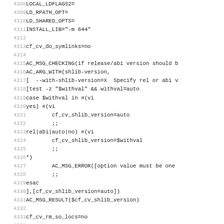Code listing lines 4308-4339, shell/autoconf script
4308  LOCAL_LDFLAGS2=
4309  LD_RPATH_OPT=
4310  LD_SHARED_OPTS=
4311  INSTALL_LIB="-m 644"
4312  (blank)
4313  cf_cv_do_symlinks=no
4314  (blank)
4315  AC_MSG_CHECKING(if release/abi version should b
4316  AC_ARG_WITH(shlib-version,
4317  [  --with-shlib-version=X  Specify rel or abi v
4318  [test -z "$withval" && withval=auto
4319  case $withval in #(vi
4320  yes) #(vi
4321          cf_cv_shlib_version=auto
4322          ;;
4323  rel|abi|auto|no) #(vi
4324          cf_cv_shlib_version=$withval
4325          ;;
4326  *)
4327          AC_MSG_ERROR([option value must be one
4328          ;;
4329  esac
4330  ],[cf_cv_shlib_version=auto])
4331  AC_MSG_RESULT($cf_cv_shlib_version)
4332  (blank)
4333  cf_cv_rm_so_locs=no
4334  (blank)
4335  # Some less-capable ports of gcc support only -
4336  CC_SHARED_OPTS=
4337  if test "$GCC" = yes
4338  then
4339      AC_MSG_CHECKING(which $CC option to use